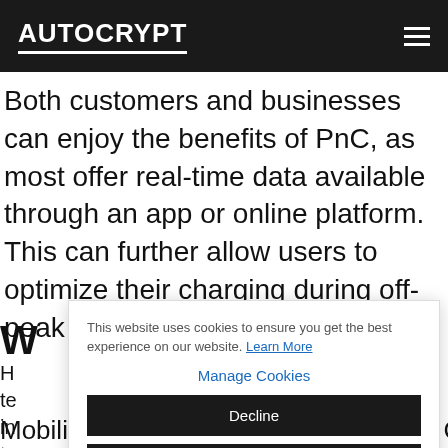AUTOCRYPT
Both customers and businesses can enjoy the benefits of PnC, as most offer real-time data available through an app or online platform. This can further allow users to optimize their charging during off-peak hours and m...
W...
H... te... in... ta...
Mobility Operators (MO) all the way to Charge Point...
This website uses cookies to ensure you get the best experience on our website. Learn More
Manage Cookies
Decline
Allow All